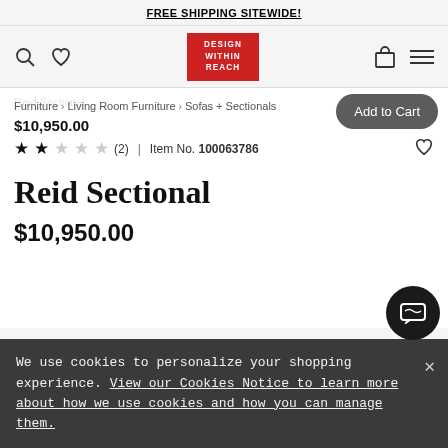FREE SHIPPING SITEWIDE!
[Figure (logo): Design Within Reach logo - red box with white text reading DESIGN WITHIN REACH]
Reid Sectional
Furniture > Living Room Furniture > Sofas + Sectionals
$10,950.00
★ ★ ☆ ☆ ☆ (2) | Item No. 100063786
Reid Sectional
$10,950.00
We use cookies to personalize your shopping experience. View our Cookies Notice to learn more about how we use cookies and how you can manage them.